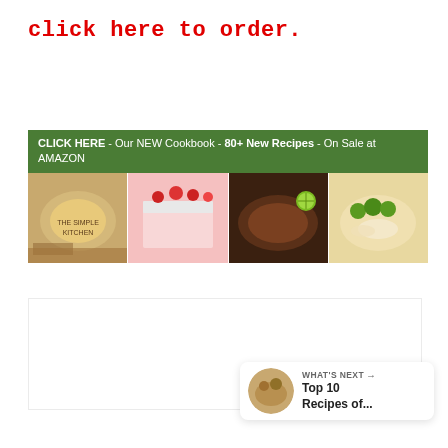click here to order.
[Figure (illustration): Cookbook promotional banner with green header text 'CLICK HERE - Our NEW Cookbook - 80+ New Recipes - On Sale at AMAZON' and four food photos below]
[Figure (illustration): Green heart/favorite button circle with count '2' and share button below]
[Figure (illustration): What's Next card showing 'Top 10 Recipes of...' with thumbnail]